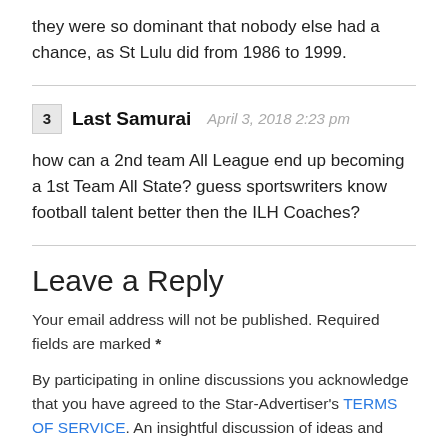they were so dominant that nobody else had a chance, as St Lulu did from 1986 to 1999.
3  Last Samurai  April 3, 2018 2:23 pm
how can a 2nd team All League end up becoming a 1st Team All State? guess sportswriters know football talent better then the ILH Coaches?
Leave a Reply
Your email address will not be published. Required fields are marked *
By participating in online discussions you acknowledge that you have agreed to the Star-Advertiser's TERMS OF SERVICE. An insightful discussion of ideas and